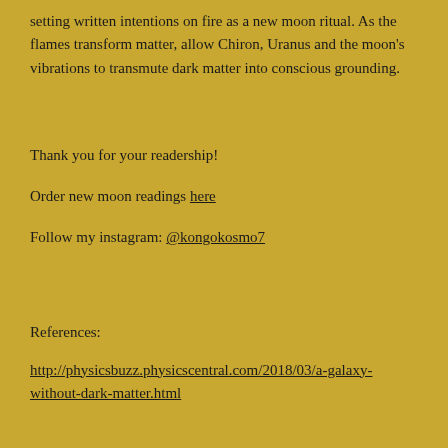setting written intentions on fire as a new moon ritual. As the flames transform matter, allow Chiron, Uranus and the moon's vibrations to transmute dark matter into conscious grounding.
Thank you for your readership!
Order new moon readings here
Follow my instagram: @kongokosmo7
References:
http://physicsbuzz.physicscentral.com/2018/03/a-galaxy-without-dark-matter.html